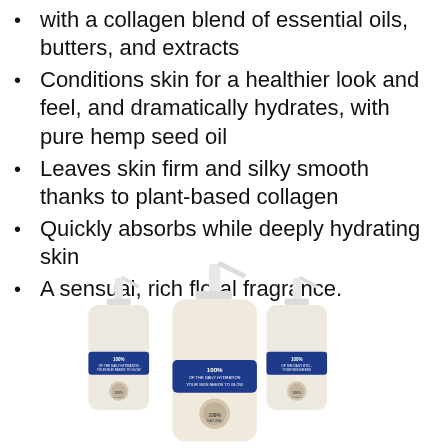with a collagen blend of essential oils, butters, and extracts
Conditions skin for a healthier look and feel, and dramatically hydrates, with pure hemp seed oil
Leaves skin firm and silky smooth thanks to plant-based collagen
Quickly absorbs while deeply hydrating skin
A sensual, rich floral fragrance.
[Figure (photo): Three white pump dispenser bottles of lotion/body cream with blue label reading '100% OF THE DAILY HYDRATION YOUR SKIN NEEDS TO GLOW', arranged side by side with the center bottle in front]